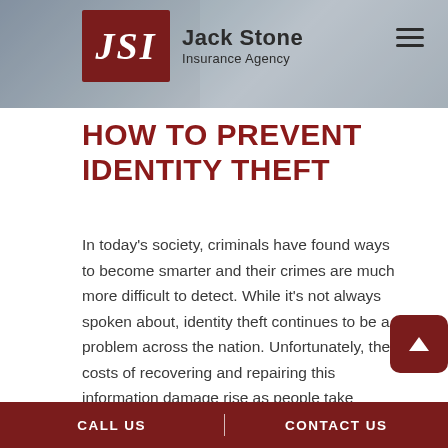[Figure (screenshot): Website header banner with blurred background showing a credit card and person. JSI Jack Stone Insurance Agency logo on left with dark red JSI box and company name. Hamburger menu icon on right.]
HOW TO PREVENT IDENTITY THEFT
In today's society, criminals have found ways to become smarter and their crimes are much more difficult to detect. While it's not always spoken about, identity theft continues to be a problem across the nation. Unfortunately, the costs of recovering and repairing this information damage rise as people take
CALL US | CONTACT US